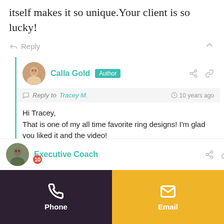itself makes it so unique.Your client is so lucky!
Reply
Calla Gold Author — Reply to Tracey M. — 10 years ago
Hi Tracey,
That is one of my all time favorite ring designs! I'm glad you liked it and the video!
Calla Gold
Reply
Executive Coach
Phone
Email